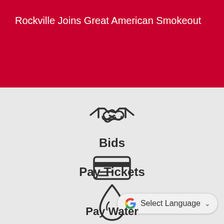Rockville Joins Great American Smokeout
[Figure (illustration): Handshake icon (outline style, dark gray)]
Bids
[Figure (illustration): Credit card / payment icon (outline style, dark gray)]
Pay Tickets
[Figure (illustration): Water drop icon (outline style, dark gray)]
Pay Water
Select Language